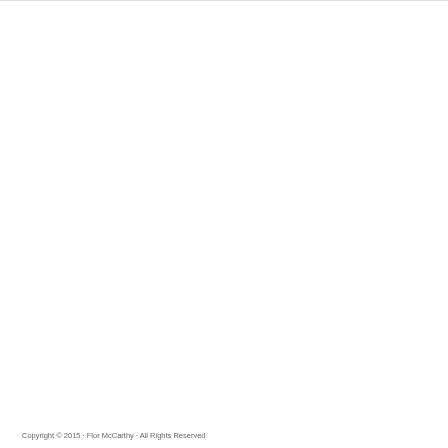Copyright © 2015 · Flor McCarthy · All Rights Reserved